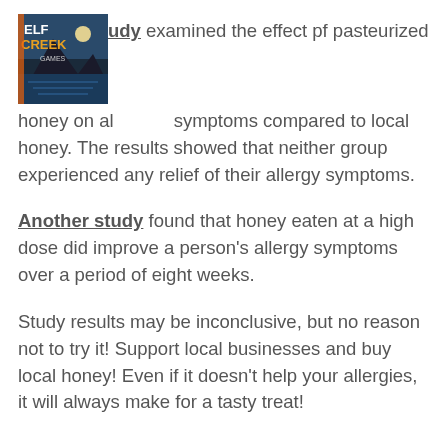[logo] study examined the effect pf pasteurized honey on allergy symptoms compared to local honey. The results showed that neither group experienced any relief of their allergy symptoms.
Another study found that honey eaten at a high dose did improve a person's allergy symptoms over a period of eight weeks.
Study results may be inconclusive, but no reason not to try it! Support local businesses and buy local honey! Even if it doesn't help your allergies, it will always make for a tasty treat!